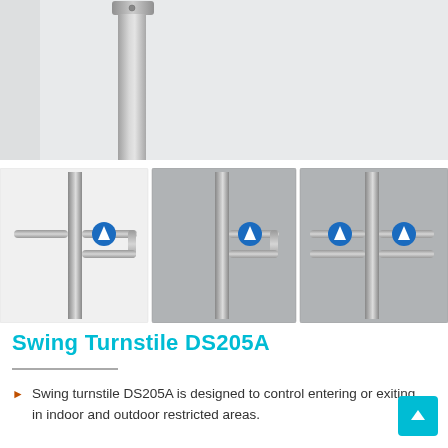[Figure (photo): Large top image showing a stainless steel turnstile post/column against a light gray background, cropped to show the upper portion of the unit.]
[Figure (photo): Three thumbnail images of Swing Turnstile DS205A: left shows single-lane view with one blue arrow badge, center shows single-lane view with one blue badge, right shows dual-lane view with two blue arrow badges.]
Swing Turnstile DS205A
Swing turnstile DS205A is designed to control entering or exiting in indoor and outdoor restricted areas.